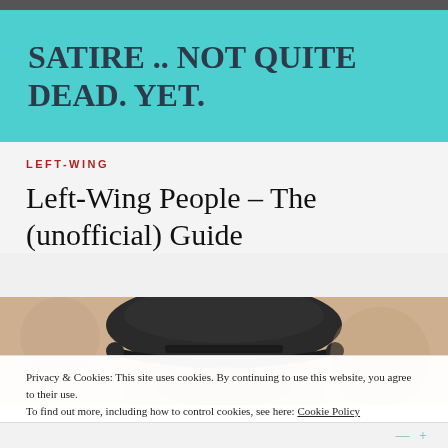SATIRE .. NOT QUITE DEAD. YET.
LEFT-WING
Left-Wing People – The (unofficial) Guide
[Figure (photo): Close-up photograph of an older person wearing a dark peaked cap, face partially visible, blurred background]
Privacy & Cookies: This site uses cookies. By continuing to use this website, you agree to their use.
To find out more, including how to control cookies, see here: Cookie Policy
Close and accept